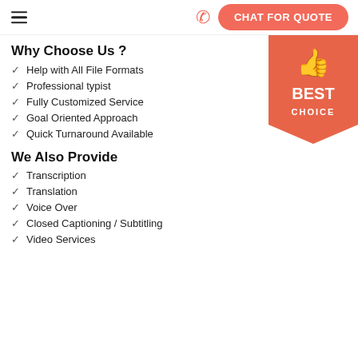CHAT FOR QUOTE
Why Choose Us ?
Help with All File Formats
Professional typist
Fully Customized Service
Goal Oriented Approach
Quick Turnaround Available
[Figure (illustration): Orange ribbon badge with thumbs up icon and text BEST CHOICE]
We Also Provide
Transcription
Translation
Voice Over
Closed Captioning / Subtitling
Video Services